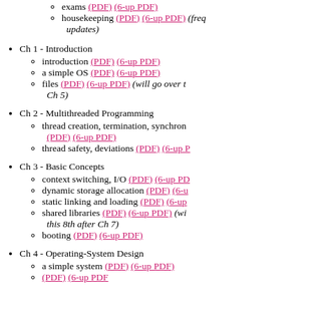exams (PDF) (6-up PDF)
housekeeping (PDF) (6-up PDF) (freq updates)
Ch 1 - Introduction
introduction (PDF) (6-up PDF)
a simple OS (PDF) (6-up PDF)
files (PDF) (6-up PDF) (will go over t Ch 5)
Ch 2 - Multithreaded Programming
thread creation, termination, synchron (PDF) (6-up PDF)
thread safety, deviations (PDF) (6-up P
Ch 3 - Basic Concepts
context switching, I/O (PDF) (6-up PD
dynamic storage allocation (PDF) (6-u
static linking and loading (PDF) (6-up
shared libraries (PDF) (6-up PDF) (wi this 8th after Ch 7)
booting (PDF) (6-up PDF)
Ch 4 - Operating-System Design
a simple system (PDF) (6-up PDF)